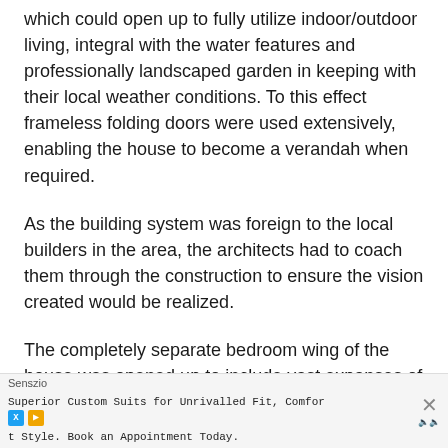which could open up to fully utilize indoor/outdoor living, integral with the water features and professionally landscaped garden in keeping with their local weather conditions. To this effect frameless folding doors were used extensively, enabling the house to become a verandah when required.
As the building system was foreign to the local builders in the area, the architects had to coach them through the construction to ensure the vision created would be realized.
The completely separate bedroom wing of the house was opened up to include vast expanses of glass and is accessed by an existing bridge over the existing swimming pool which had glass bricks making it very hot, so it was opened up by fitting glass sliding doors
[Advertisement: Senszio — Superior Custom Suits for Unrivalled Fit, Comfort and Style. Book an Appointment Today.]